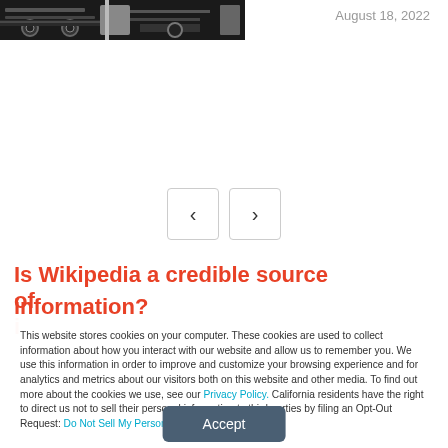[Figure (photo): Partial photo of mechanical/rail equipment parts, dark metallic components visible at top left]
August 18, 2022
[Figure (other): Navigation arrows: left chevron and right chevron buttons for carousel navigation]
Is Wikipedia a credible source of information?
This website stores cookies on your computer. These cookies are used to collect information about how you interact with our website and allow us to remember you. We use this information in order to improve and customize your browsing experience and for analytics and metrics about our visitors both on this website and other media. To find out more about the cookies we use, see our Privacy Policy. California residents have the right to direct us not to sell their personal information to third parties by filing an Opt-Out Request: Do Not Sell My Personal Info.
Accept